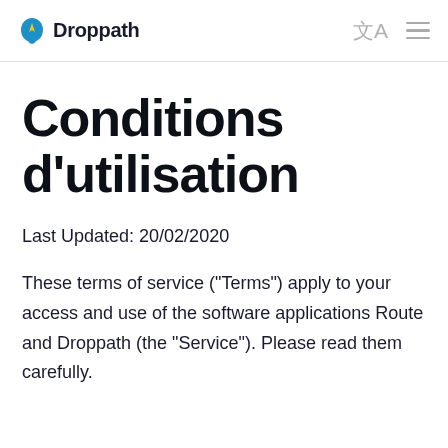Droppath
Conditions d'utilisation
Last Updated: 20/02/2020
These terms of service ("Terms") apply to your access and use of the software applications Route and Droppath (the "Service"). Please read them carefully.